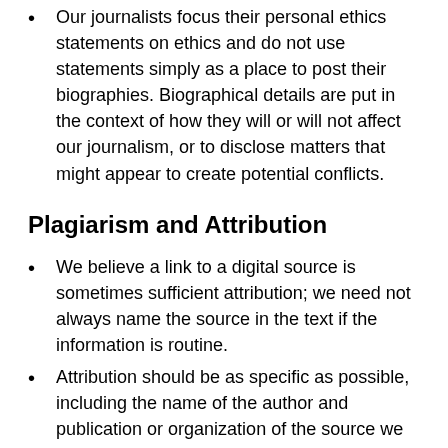Our journalists focus their personal ethics statements on ethics and do not use statements simply as a place to post their biographies. Biographical details are put in the context of how they will or will not affect our journalism, or to disclose matters that might appear to create potential conflicts.
Plagiarism and Attribution
We believe a link to a digital source is sometimes sufficient attribution; we need not always name the source in the text if the information is routine.
Attribution should be as specific as possible, including the name of the author and publication or organization of the source we are quoting.
We should always cite news releases if they are our sources, and should quote them if using their